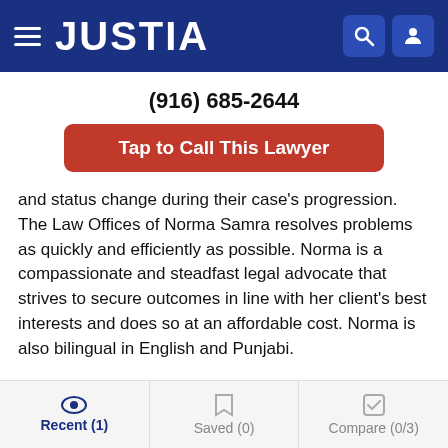JUSTIA
(916) 685-2644
Tap to Call This Lawyer
and status change during their case's progression. The Law Offices of Norma Samra resolves problems as quickly and efficiently as possible. Norma is a compassionate and steadfast legal advocate that strives to secure outcomes in line with her client's best interests and does so at an affordable cost. Norma is also bilingual in English and Punjabi.
Practice Areas
Recent (1)   Saved (0)   Compare (0/3)